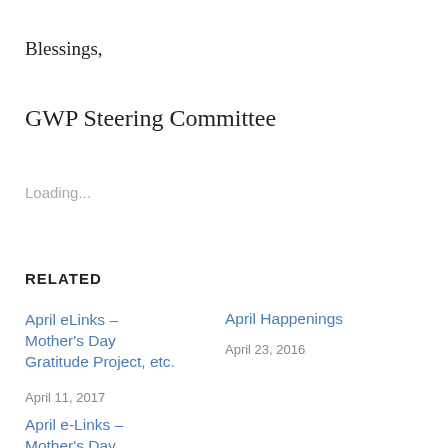Blessings,
GWP Steering Committee
Loading...
RELATED
April eLinks – Mother's Day Gratitude Project, etc.
April 11, 2017
April Happenings
April 23, 2016
April e-Links – Mother's Day